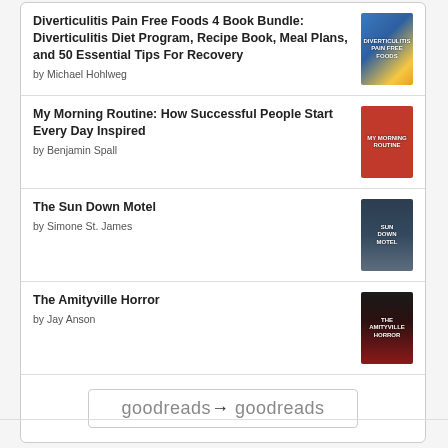Diverticulitis Pain Free Foods 4 Book Bundle: Diverticulitis Diet Program, Recipe Book, Meal Plans, and 50 Essential Tips For Recovery by Michael Hohlweg
My Morning Routine: How Successful People Start Every Day Inspired by Benjamin Spall
The Sun Down Motel by Simone St. James
The Amityville Horror by Jay Anson
[Figure (logo): Goodreads logo button with rounded rectangle border]